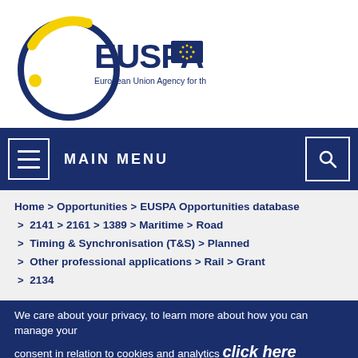[Figure (logo): EUSPA logo — European Union Agency for the Space Programme, with circular dark blue ring, yellow crescent, yellow dot, and EU flag]
MAIN MENU
Home > Opportunities > EUSPA Opportunities database > 2141 > 2161 > 1389 > Maritime > Road > Timing & Synchronisation (T&S) > Planned > Other professional applications > Rail > Grant > 2134
We care about your privacy, to learn more about how you can manage your consent in relation to cookies and analytics click here